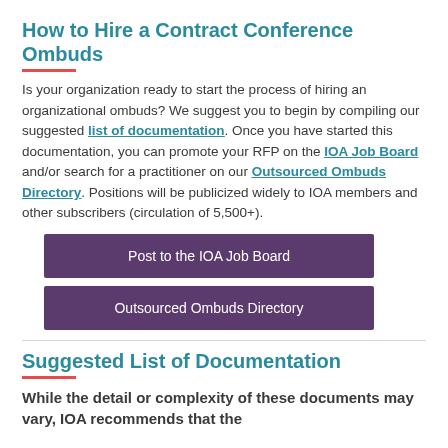How to Hire a Contract Conference Ombuds
Is your organization ready to start the process of hiring an organizational ombuds? We suggest you to begin by compiling our suggested list of documentation. Once you have started this documentation, you can promote your RFP on the IOA Job Board and/or search for a practitioner on our Outsourced Ombuds Directory. Positions will be publicized widely to IOA members and other subscribers (circulation of 5,500+).
Post to the IOA Job Board
Outsourced Ombuds Directory
Suggested List of Documentation
While the detail or complexity of these documents may vary, IOA recommends that the